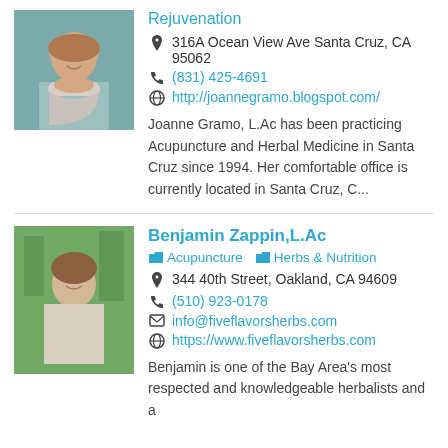[Figure (photo): Photo of a woman with a scarf, smiling (Joanne Gramo)]
Rejuvenation
316A Ocean View Ave Santa Cruz, CA 95062
(831) 425-4691
http://joannegramo.blogspot.com/
Joanne Gramo, L.Ac has been practicing Acupuncture and Herbal Medicine in Santa Cruz since 1994. Her comfortable office is currently located in Santa Cruz, C...
[Figure (photo): Photo of Benjamin Zappin, a man standing outdoors with trees in background]
Benjamin Zappin,L.Ac
Acupuncture  Herbs & Nutrition
344 40th Street, Oakland, CA 94609
(510) 923-0178
info@fiveflavorsherbs.com
https://www.fiveflavorsherbs.com
Benjamin is one of the Bay Area's most respected and knowledgeable herbalists and a